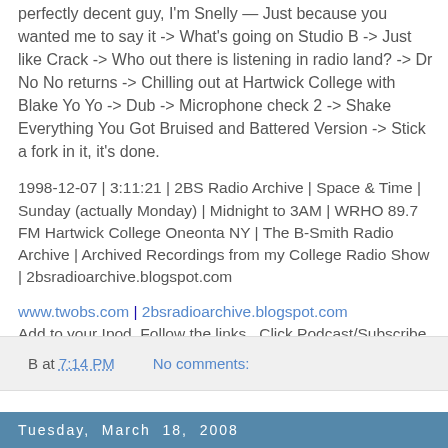perfectly decent guy, I'm Snelly — Just because you wanted me to say it -> What's going on Studio B -> Just like Crack -> Who out there is listening in radio land? -> Dr No No returns -> Chilling out at Hartwick College with Blake Yo Yo -> Dub -> Microphone check 2 -> Shake Everything You Got Bruised and Battered Version -> Stick a fork in it, it's done.
1998-12-07 | 3:11:21 | 2BS Radio Archive | Space & Time | Sunday (actually Monday) | Midnight to 3AM | WRHO 89.7 FM Hartwick College Oneonta NY | The B-Smith Radio Archive | Archived Recordings from my College Radio Show | 2bsradioarchive.blogspot.com
www.twobs.com | 2bsradioarchive.blogspot.com
Add to your Ipod. Follow the links . Click Podcast/Subscribe button. Tell iTunes to sync the podcast to your iPod. Await for more shows and keep listening!
B at 7:14 PM   No comments:
Tuesday, March 18, 2008